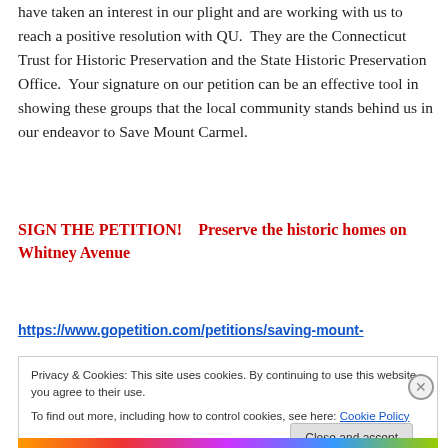have taken an interest in our plight and are working with us to reach a positive resolution with QU.  They are the Connecticut Trust for Historic Preservation and the State Historic Preservation Office.  Your signature on our petition can be an effective tool in showing these groups that the local community stands behind us in our endeavor to Save Mount Carmel.
SIGN THE PETITION!    Preserve the historic homes on Whitney Avenue
https://www.gopetition.com/petitions/saving-mount-
Privacy & Cookies: This site uses cookies. By continuing to use this website, you agree to their use.
To find out more, including how to control cookies, see here: Cookie Policy